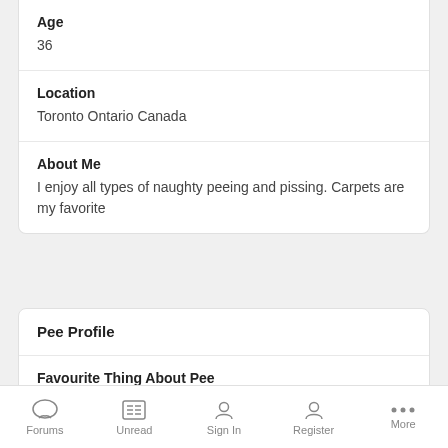Age
36
Location
Toronto Ontario Canada
About Me
I enjoy all types of naughty peeing and pissing. Carpets are my favorite
Pee Profile
Favourite Thing About Pee
Women's pee is my favorite. I love everything to do with it
Hottest Pee Experience
Forums  Unread  Sign In  Register  More